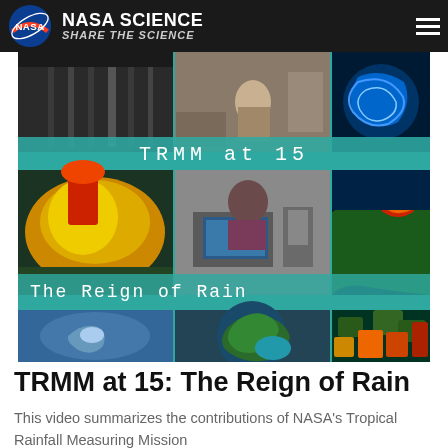NASA SCIENCE — SHARE THE SCIENCE
[Figure (screenshot): NASA Science website screenshot showing a composite video thumbnail for 'TRMM at 15: The Reign of Rain' with multiple panels showing satellite imagery, weather data visualizations, a researcher at a computer, and global precipitation maps. Overlaid text banners read 'TRMM at 15' and 'The Reign of Rain'.]
TRMM at 15: The Reign of Rain
This video summarizes the contributions of NASA's Tropical Rainfall Measuring Mission